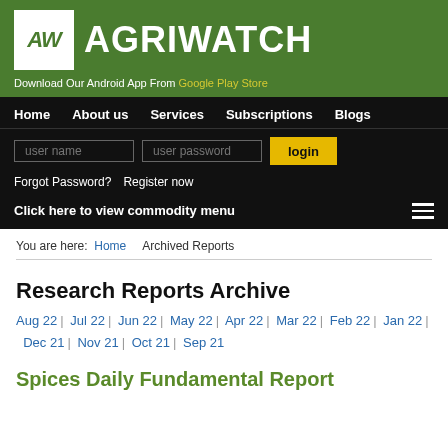[Figure (logo): Agriwatch logo with AW icon in white box on green background and AGRIWATCH text in white]
Download Our Android App From Google Play Store
Home  About us  Services  Subscriptions  Blogs
user name  user password  login
Forgot Password?  Register now
Click here to view commodity menu
You are here: Home  Archived Reports
Research Reports Archive
Aug 22 | Jul 22 | Jun 22 | May 22 | Apr 22 | Mar 22 | Feb 22 | Jan 22 | Dec 21 | Nov 21 | Oct 21 | Sep 21
Spices Daily Fundamental Report